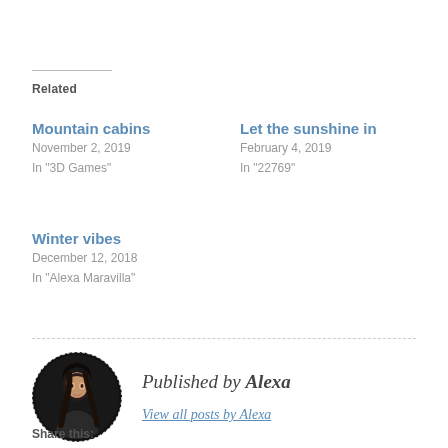Related
Mountain cabins
November 2, 2019
In "3D Games"
Let the sunshine in
February 4, 2019
In "22769"
Winter vibes
December 12, 2018
In "Alexa Maravilla"
Published by Alexa
View all posts by Alexa
Share this: